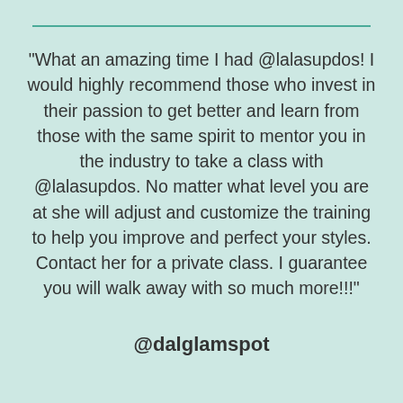"What an amazing time I had @lalasupdos! I would highly recommend those who invest in their passion to get better and learn from those with the same spirit to mentor you in the industry to take a class with @lalasupdos. No matter what level you are at she will adjust and customize the training to help you improve and perfect your styles. Contact her for a private class. I guarantee you will walk away with so much more!!!"
@dalglamspot